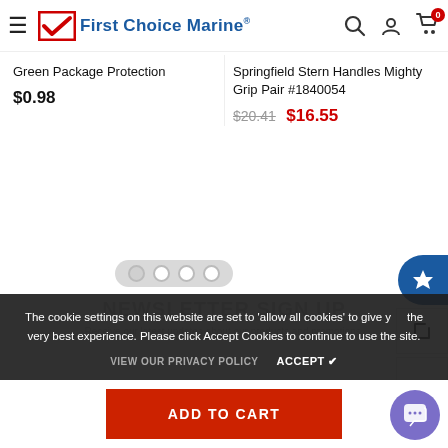First Choice Marine
Green Package Protection
$0.98
Springfield Stern Handles Mighty Grip Pair #1840054
$20.41  $16.55
The cookie settings on this website are set to 'allow all cookies' to give you the very best experience. Please click Accept Cookies to continue to use the site.
VIEW OUR PRIVACY POLICY   ACCEPT ✔
NEWSLETTER SIGN UP
Receive our latest updates about our products and promotions.
ADD TO CART